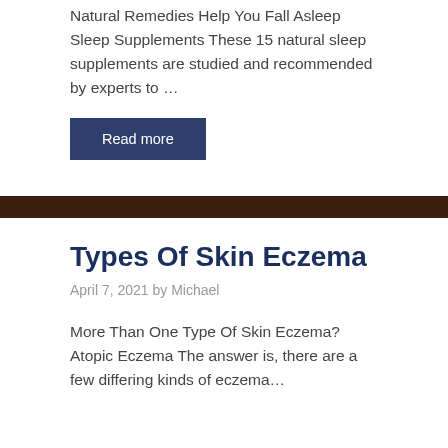Natural Remedies Help You Fall Asleep Sleep Supplements These 15 natural sleep supplements are studied and recommended by experts to …
Read more
Types Of Skin Eczema
April 7, 2021 by Michael
More Than One Type Of Skin Eczema? Atopic Eczema The answer is, there are a few differing kinds of eczema…